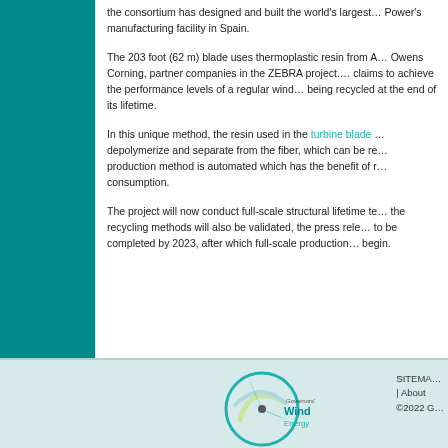the consortium has designed and built the world's largest … Power's manufacturing facility in Spain.
The 203 foot (62 m) blade uses thermoplastic resin from A… Owens Corning, partner companies in the ZEBRA project. … claims to achieve the performance levels of a regular wind… being recycled at the end of its lifetime.
In this unique method, the resin used in the turbine blade … depolymerize and separate from the fiber, which can be re… production method is automated which has the benefit of r… consumption.
The project will now conduct full-scale structural lifetime te… the recycling methods will also be validated, the press rele… to be completed by 2023, after which full-scale production … begin.
Governors' Wind Energy | SITEMAP | About | ©2022 G…